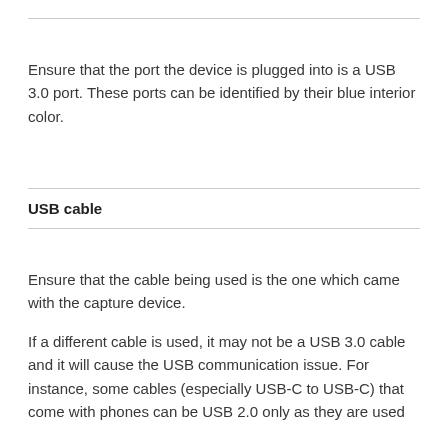Ensure that the port the device is plugged into is a USB 3.0 port. These ports can be identified by their blue interior color.
USB cable
Ensure that the cable being used is the one which came with the capture device.
If a different cable is used, it may not be a USB 3.0 cable and it will cause the USB communication issue. For instance, some cables (especially USB-C to USB-C) that come with phones can be USB 2.0 only as they are used